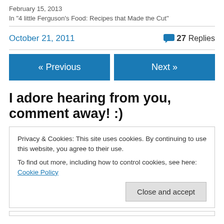February 15, 2013
In "4 little Ferguson's Food: Recipes that Made the Cut"
October 21, 2011
27 Replies
« Previous
Next »
I adore hearing from you, comment away! :)
Privacy & Cookies: This site uses cookies. By continuing to use this website, you agree to their use.
To find out more, including how to control cookies, see here: Cookie Policy
Close and accept